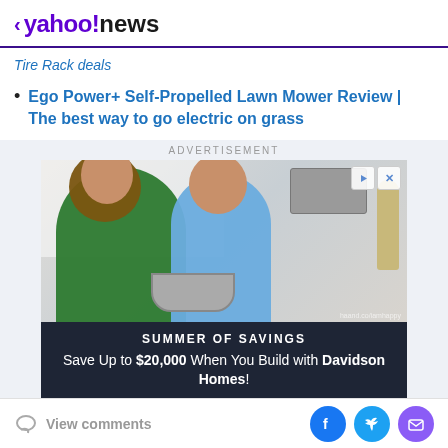< yahoo!news
Tire Rack deals
Ego Power+ Self-Propelled Lawn Mower Review | The best way to go electric on grass
ADVERTISEMENT
[Figure (photo): Advertisement banner showing a woman and child cooking in a kitchen. Bottom banner reads: SUMMER OF SAVINGS - Save Up to $20,000 When You Build with Davidson Homes!]
View comments